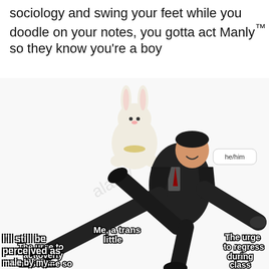sociology and swing your feet while you doodle on your notes, you gotta act Manly™ so they know you're a boy
[Figure (illustration): Meme image of a man in a suit kicking, holding a stuffed bunny rabbit. Text overlays label: 'Me, a trans little', 'The urge to regress during class', 'The urge to act overly masculine so I'll still be perceived as male by my...', and a speech bubble saying 'he/him'.]